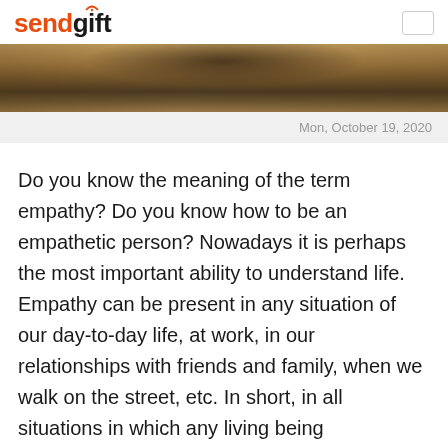sendgift
[Figure (photo): Outdoor scene, close-up of ground with earth tones, appears to be an archaeological or natural setting]
Mon, October 19, 2020
Do you know the meaning of the term empathy? Do you know how to be an empathetic person? Nowadays it is perhaps the most important ability to understand life. Empathy can be present in any situation of our day-to-day life, at work, in our relationships with friends and family, when we walk on the street, etc. In short, in all situations in which any living being participates.